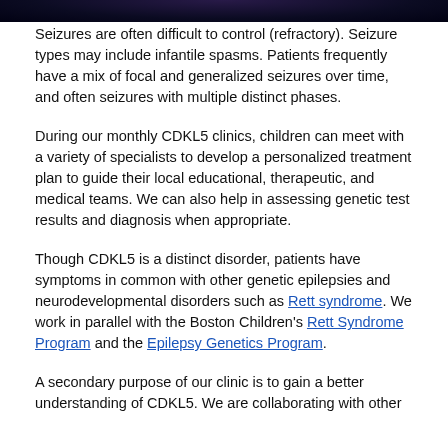[Figure (photo): Dark blue/purple toned image at top of page, partially visible, appears to be a medical or scientific image]
Seizures are often difficult to control (refractory). Seizure types may include infantile spasms. Patients frequently have a mix of focal and generalized seizures over time, and often seizures with multiple distinct phases.
During our monthly CDKL5 clinics, children can meet with a variety of specialists to develop a personalized treatment plan to guide their local educational, therapeutic, and medical teams. We can also help in assessing genetic test results and diagnosis when appropriate.
Though CDKL5 is a distinct disorder, patients have symptoms in common with other genetic epilepsies and neurodevelopmental disorders such as Rett syndrome. We work in parallel with the Boston Children's Rett Syndrome Program and the Epilepsy Genetics Program.
A secondary purpose of our clinic is to gain a better understanding of CDKL5. We are collaborating with other